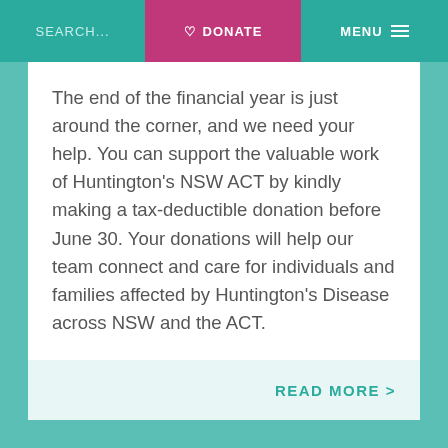SEARCH...   ♡ DONATE   MENU ≡
The end of the financial year is just around the corner, and we need your help. You can support the valuable work of Huntington's NSW ACT by kindly making a tax-deductible donation before June 30. Your donations will help our team connect and care for individuals and families affected by Huntington's Disease across NSW and the ACT.
READ MORE >